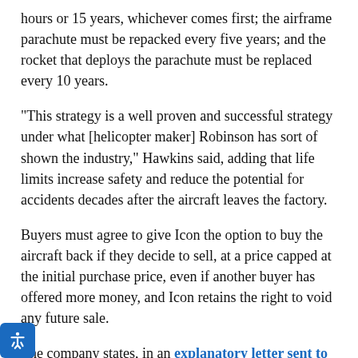hours or 15 years, whichever comes first; the airframe parachute must be repacked every five years; and the rocket that deploys the parachute must be replaced every 10 years.
"This strategy is a well proven and successful strategy under what [helicopter maker] Robinson has sort of shown the industry," Hawkins said, adding that life limits increase safety and reduce the potential for accidents decades after the aircraft leaves the factory.
Buyers must agree to give Icon the option to buy the aircraft back if they decide to sell, at a price capped at the initial purchase price, even if another buyer has offered more money, and Icon retains the right to void any future sale.
The company states, in an explanatory letter sent to customers, that the optional $10,000 extra payment to strike the indemnification clause corresponds to its cost of insuring